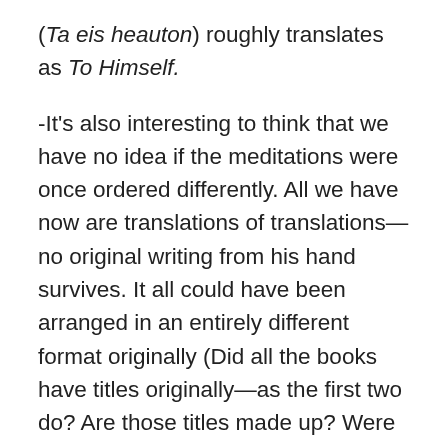( Ta eis heauton) roughly translates as To Himself.
-It's also interesting to think that we have no idea if the meditations were once ordered differently. All we have now are translations of translations—no original writing from his hand survives. It all could have been arranged in an entirely different format originally (Did all the books have titles originally—as the first two do? Are those titles made up? Were they all numbered originally? Or were even the breaks between thoughts added